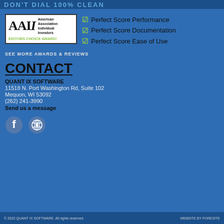DON'T DIAL 100% CLEAN
[Figure (logo): AAII American Association Individual Investors logo with EDITORS CHOICE AWARD! text in green]
Perfect Score Performance
Perfect Score Documentation
Perfect Score Ease of Use
SEE MORE AWARDS & REVIEWS
CONTACT
QUANT IX SOFTWARE
11518 N. Port Washington Rd, Suite 102
Mequon, WI 53092
(262) 241-3990
Send us a message
[Figure (illustration): Facebook and WordPress social media icons]
© 2022 QUANT IX SOFTWARE. All rights reserved.      WEBSITE BY FORESITE